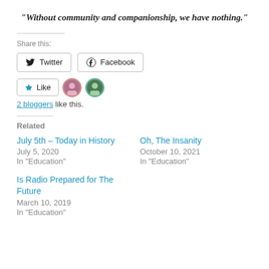“Without community and companionship, we have nothing.”
Share this:
Twitter  Facebook
Like  2 bloggers like this.
Related
July 5th – Today in History
July 5, 2020
In "Education"
Oh, The Insanity
October 10, 2021
In "Education"
Is Radio Prepared for The Future
March 10, 2019
In "Education"